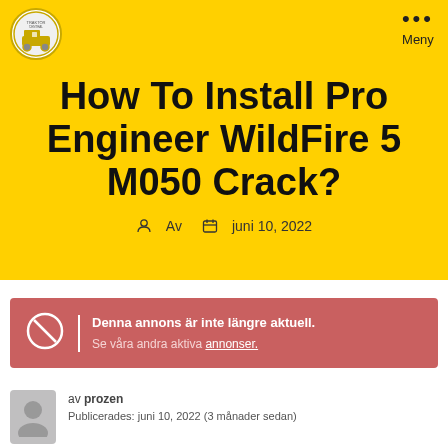[Figure (logo): Circular logo with yellow and black colors, appears to be a website/organization logo]
How To Install Pro Engineer WildFire 5 M050 Crack?
Av  juni 10, 2022
Denna annons är inte längre aktuell. Se våra andra aktiva annonser.
av prozen
Publicerades: juni 10, 2022 (3 månader sedan)